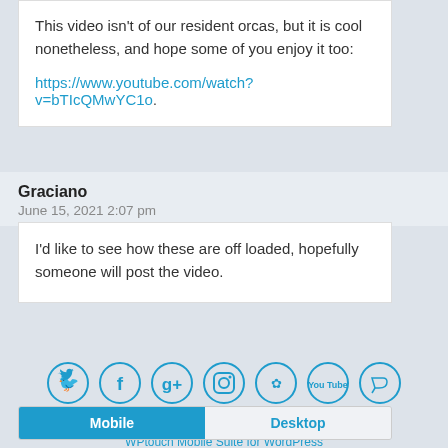This video isn't of our resident orcas, but it is cool nonetheless, and hope some of you enjoy it too: https://www.youtube.com/watch?v=bTIcQMwYC1o.
Graciano
June 15, 2021 2:07 pm
I'd like to see how these are off loaded, hopefully someone will post the video.
[Figure (infographic): Row of 7 circular social media icons in blue outline style: Twitter, Facebook, Google+, Instagram, Pinterest, YouTube, RSS]
Powered by
WPtouch Mobile Suite for WordPress
Mobile  Desktop